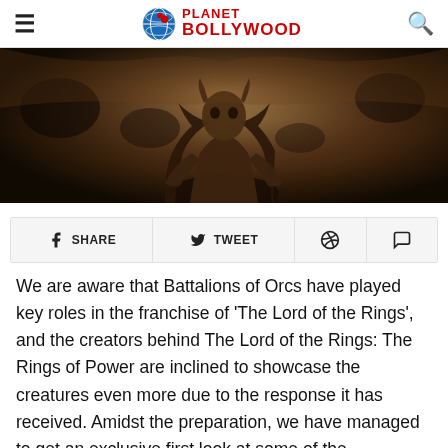PLANET BOLLYWOOD
[Figure (photo): Dark cinematic still showing an Orc creature from The Lord of the Rings: The Rings of Power, with dark brown and earthy tones]
SHARE
TWEET
We are aware that Battalions of Orcs have played key roles in the franchise of 'The Lord of the Rings', and the creators behind The Lord of the Rings: The Rings of Power are inclined to showcase the creatures even more due to the response it has received. Amidst the preparation, we have managed to get an exclusive first look at some of the